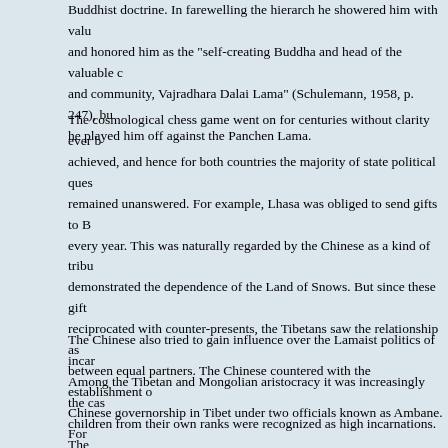Buddhist doctrine. In farewelling the hierarch he showered him with value and honored him as the "self-creating Buddha and head of the valuable c and community, Vajradhara Dalai Lama" (Schulemann, 1958, p. 247), bu he played him off against the Panchen Lama.
The cosmological chess game went on for centuries without clarity ever b achieved, and hence for both countries the majority of state political ques remained unanswered. For example, Lhasa was obliged to send gifts to B every year. This was naturally regarded by the Chinese as a kind of tribu demonstrated the dependence of the Land of Snows. But since these gift reciprocated with counter-presents, the Tibetans saw the relationship as between equal partners. The Chinese countered with the establishment o Chinese governorship in Tibet under two officials known as Ambane. Fro Chinese point of view they represented the worldly administration of the So that they could be played off against one another and avoid corruptio Ambane were always dispatched to Tibet in pairs.
The Chinese also tried to gain influence over the Lamaist politics of incar Among the Tibetan and Mongolian aristocracy it was increasingly the cas children from their own ranks were recognized as high incarnations. The behind this was to make important clerical posts de facto hereditary for th noble clans. In order to hamper such familial expansions of power, the Ch Emperor imposed an oracular procedure. In the case of the Dalai Lama t were to always be sought as potential successors and then the final decis be made under Chinese supervision by the drawing of lots. The names a